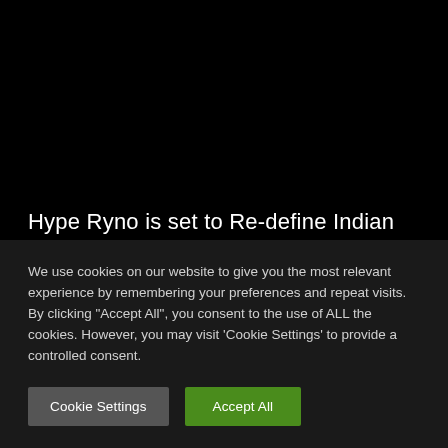Hype Ryno is set to Re-define Indian Speaker Market as we know it.
We use cookies on our website to give you the most relevant experience by remembering your preferences and repeat visits. By clicking "Accept All", you consent to the use of ALL the cookies. However, you may visit 'Cookie Settings' to provide a controlled consent.